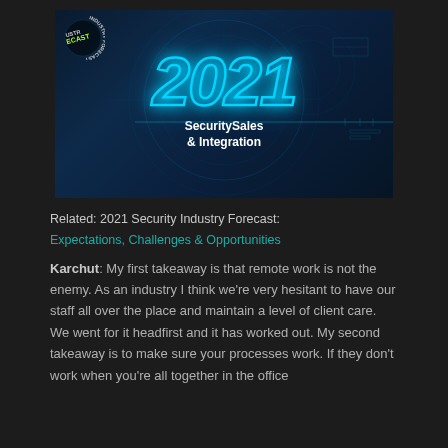[Figure (illustration): 2021 Security Industry Forecast banner image with neon blue glowing '2021' text on dark blue HUD/tech background, with 'INDUSTRY FORECAST' badge in top left corner and 'Security Sales & Integration' brand name below the year.]
Related: 2021 Security Industry Forecast: Expectations, Challenges & Opportunities
Karchut: My first takeaway is that remote work is not the enemy. As an industry I think we're very hesitant to have our staff all over the place and maintain a level of client care. We went for it headfirst and it has worked out. My second takeaway is to make sure your processes work. If they don't work when you're all together in the office